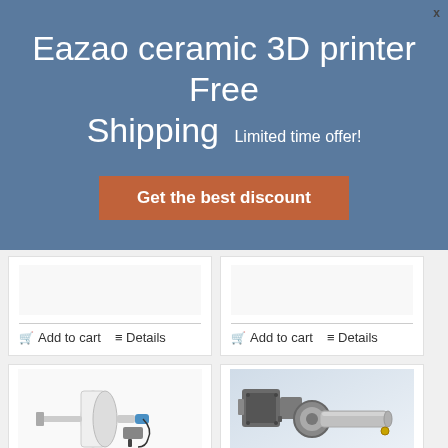x
Eazao ceramic 3D printer Free Shipping Limited time offer!
Get the best discount
[Figure (other): Product card top area with separator line and Add to cart / Details links (left card)]
[Figure (other): Product card top area with separator line and Add to cart / Details links (right card)]
[Figure (photo): White syringe-style ceramic 3D printer extruder with blue nozzle tip and small attachment]
[Figure (photo): Gray metal auger/worm screw extruder assembly for ceramic 3D printer, showing motor and cylindrical barrel on light blue background]